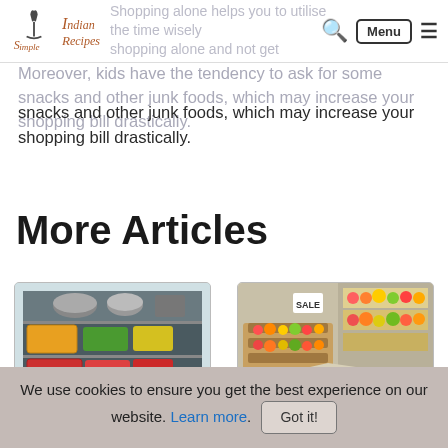Simple Indian Recipes — navigation bar with logo, search, Menu button, hamburger icon
Shopping alone helps you to utilise the time wisely, shopping alone and not get distracted. Moreover, kids have the tendency to ask for some snacks and other junk foods, which may increase your shopping bill drastically.
More Articles
[Figure (photo): Refrigerator with organized shelves containing colorful food containers and baskets]
Refrigerator Organization Tips
[Figure (photo): Supermarket produce aisle with colorful fruits and vegetables on wooden display stands]
Monthly Shopping List
We use cookies to ensure you get the best experience on our website. Learn more. Got it!